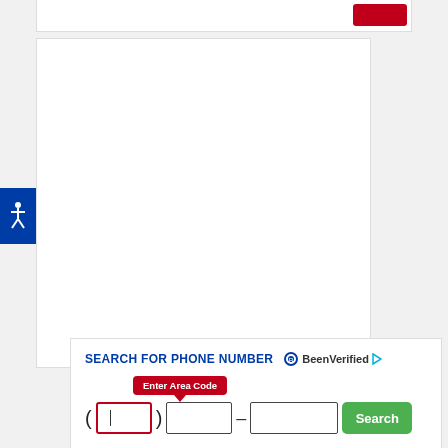[Figure (screenshot): Top card partial view with red button clipped at top]
[Figure (screenshot): Accessibility icon button on left side (blue background, white stick figure)]
[Figure (screenshot): Large white content area card (empty)]
[Figure (screenshot): BeenVerified phone number search widget with tooltip 'Enter Area Code', phone input fields, and green Search button]